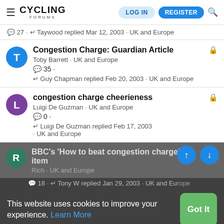Cycling Forums – LOG IN | REGISTER
27 · Taywood replied Mar 12, 2003 · UK and Europe
Congestion Charge: Guardian Article – Toby Barrett · UK and Europe – 35 replies – Guy Chapman replied Feb 20, 2003 · UK and Europe
congestion charge cheerieness – Luigi De Guzman · UK and Europe – 0 replies – Luigi De Guzman replied Feb 17, 2003 · UK and Europe
BBC's 'How to beat congestion charge' item – Rich · UK and Europe – 18 replies – Tony W replied Jan 29, 2003 · UK and Europe
Cycle to welcome congestion charge?
This website uses cookies to improve your experience. Learn More
Got It